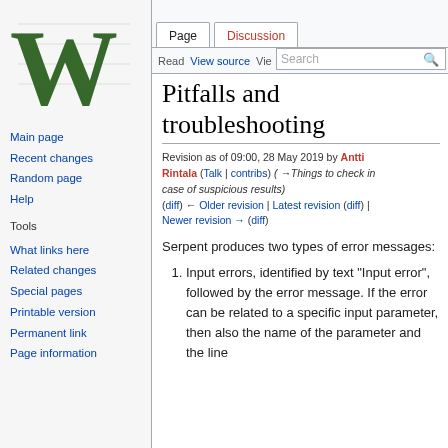Create account  Log in
[Figure (logo): Wikipedia logo: large decorative W in green and black]
Page  Discussion  Read  View source  View  More  Search
Pitfalls and troubleshooting
Revision as of 09:00, 28 May 2019 by Antti Rintala (Talk | contribs) (→Things to check in case of suspicious results) (diff) ← Older revision | Latest revision (diff) | Newer revision → (diff)
Serpent produces two types of error messages:
1. Input errors, identified by text "Input error", followed by the error message. If the error can be related to a specific input parameter, then also the name of the parameter and the line
Main page
Recent changes
Random page
Help
Tools
What links here
Related changes
Special pages
Printable version
Permanent link
Page information